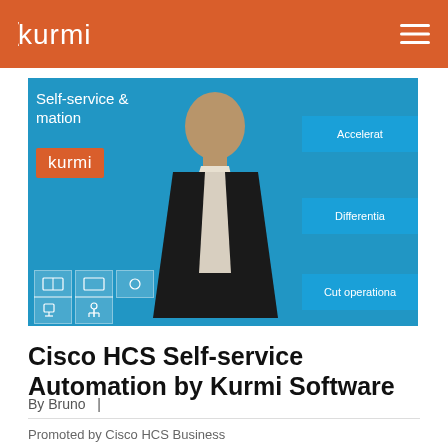kurmi
[Figure (screenshot): Video thumbnail showing a man in a black suit presenting in front of a blue slide. The slide reads 'Self-service & mation' with orange Kurmi logo, blue button boxes labeled 'Accelerat', 'Differentia', 'Cut operationa', and Cisco product icons at the bottom.]
Cisco HCS Self-service Automation by Kurmi Software
By Bruno  |
Promoted by Cisco HCS Business Unit, this video was recorded in their